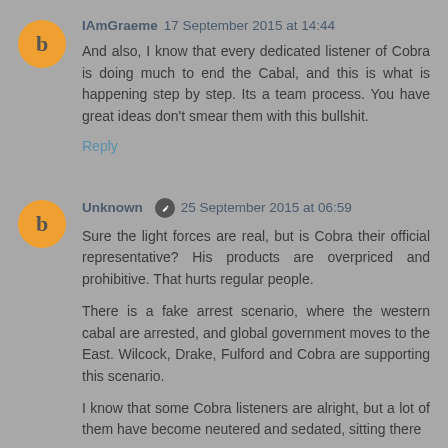IAmGraeme 17 September 2015 at 14:44
And also, I know that every dedicated listener of Cobra is doing much to end the Cabal, and this is what is happening step by step. Its a team process. You have great ideas don't smear them with this bullshit.
Reply
Unknown 25 September 2015 at 06:59
Sure the light forces are real, but is Cobra their official representative? His products are overpriced and prohibitive. That hurts regular people.
There is a fake arrest scenario, where the western cabal are arrested, and global government moves to the East. Wilcock, Drake, Fulford and Cobra are supporting this scenario.
I know that some Cobra listeners are alright, but a lot of them have become neutered and sedated, sitting there